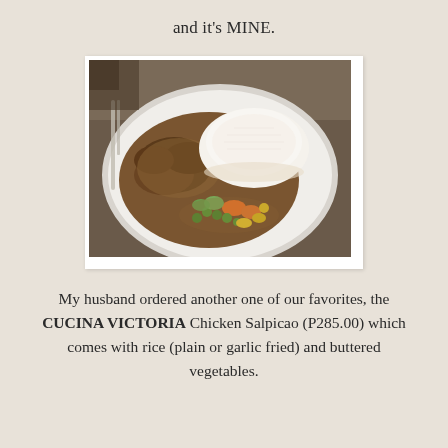and it's MINE.
[Figure (photo): A plate of Chicken Salpicao served with a mound of white rice and colorful buttered vegetables including carrots, peas, corn, and zucchini on a white oval plate, with cutlery visible in the background.]
My husband ordered another one of our favorites, the CUCINA VICTORIA Chicken Salpicao (P285.00) which comes with rice (plain or garlic fried) and buttered vegetables.